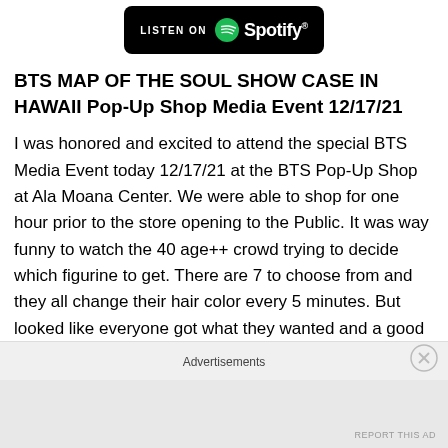[Figure (logo): Listen on Spotify button — black rounded rectangle with Spotify logo and wordmark in white]
BTS MAP OF THE SOUL SHOW CASE IN HAWAII Pop-Up Shop Media Event 12/17/21
I was honored and excited to attend the special BTS Media Event today 12/17/21 at the BTS Pop-Up Shop at Ala Moana Center. We were able to shop for one hour prior to the store opening to the Public. It was way funny to watch the 40 age++ crowd trying to decide which figurine to get. There are 7 to choose from and they all change their hair color every 5 minutes. But looked like everyone got what they wanted and a good time had by all
Advertisements